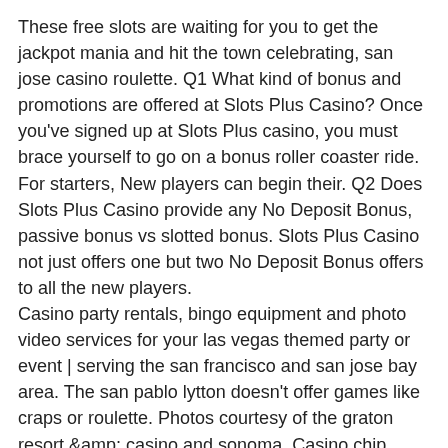These free slots are waiting for you to get the jackpot mania and hit the town celebrating, san jose casino roulette. Q1 What kind of bonus and promotions are offered at Slots Plus Casino? Once you've signed up at Slots Plus casino, you must brace yourself to go on a bonus roller coaster ride. For starters, New players can begin their. Q2 Does Slots Plus Casino provide any No Deposit Bonus, passive bonus vs slotted bonus. Slots Plus Casino not just offers one but two No Deposit Bonus offers to all the new players.
Casino party rentals, bingo equipment and photo video services for your las vegas themed party or event | serving the san francisco and san jose bay area. The san pablo lytton doesn't offer games like craps or roulette. Photos courtesy of the graton resort &amp; casino and sonoma. Casino chip runner salary, download online videopoker